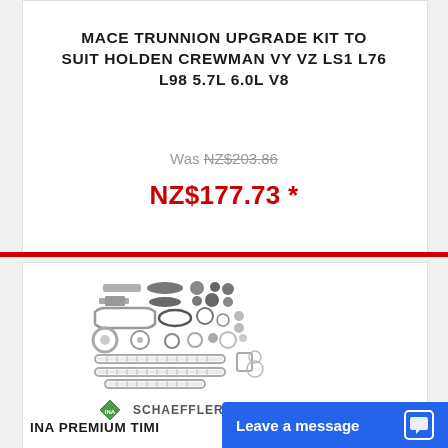MACE TRUNNION UPGRADE KIT TO SUIT HOLDEN CREWMAN VY VZ LS1 L76 L98 5.7L 6.0L V8
Was NZ$203.86
NZ$177.73 *
[Figure (photo): Automotive timing chain kit components laid out, with INA Schaeffler brand logo]
INA PREMIUM TIMI
Leave a message